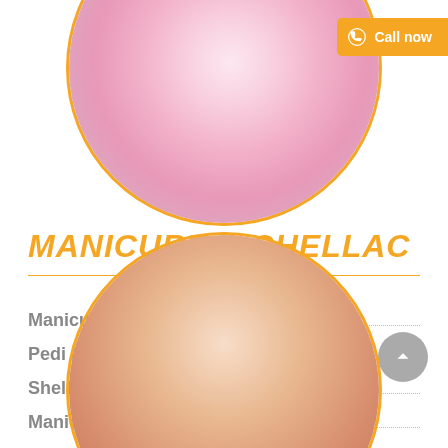[Figure (photo): Top circular image with pink rose petals, framed with an orange/gold circular border.]
[Figure (infographic): Orange 'Call now' button with phone icon in the top right corner.]
MANICURE & SHELLAC
Manicure
Pedi & Manicure
Shellac Polish
Manicure Shellac
Shellac for Toe
[Figure (photo): Partial bottom circular image showing nails/fingers, framed with an orange/gold circular border.]